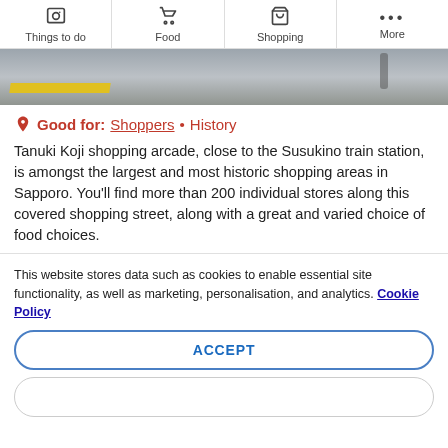Things to do | Food | Shopping | More
[Figure (photo): Partial view of a shopping arcade or station floor with a yellow stripe and grey tiles, person walking in background]
Good for: Shoppers • History
Tanuki Koji shopping arcade, close to the Susukino train station, is amongst the largest and most historic shopping areas in Sapporo. You'll find more than 200 individual stores along this covered shopping street, along with a great and varied choice of food choices.
This website stores data such as cookies to enable essential site functionality, as well as marketing, personalisation, and analytics. Cookie Policy
ACCEPT